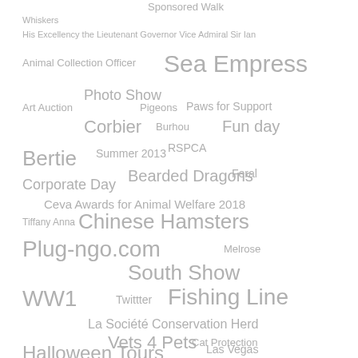[Figure (infographic): Tag cloud / word cloud with various terms related to an animal welfare organization, rendered in gray text at different font sizes scattered across the page. Terms include: Sponsored Walk, Whiskers, His Excellency the Lieutenant Governor Vice Admiral Sir Ian, Animal Collection Officer, Sea Empress, Photo Show, Art Auction, Pigeons, Paws for Support, Corbier, Burhou, Fun day, RSPCA, Bertie, Summer 2013, Bearded Dragons, Feral, Corporate Day, Ceva Awards for Animal Welfare 2018, Tiffany Anna, Chinese Hamsters, Plug-ngo.com, Melrose, South Show, WW1, Twittter, Fishing Line, La Société Conservation Herd, Vets 4 Pets, Cat Protection, Halloween Tours, Las Vegas.]